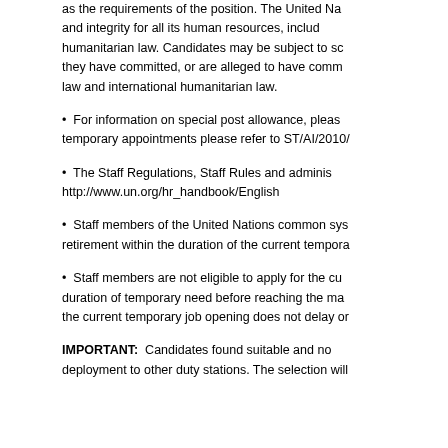as the requirements of the position. The United Nations values diversity and integrity for all its human resources, including compliance with humanitarian law. Candidates may be subject to screening against the acts they have committed, or are alleged to have committed, against international law and international humanitarian law.
For information on special post allowance, please refer to ST/AI/1999/17. For temporary appointments please refer to ST/AI/2010/...
The Staff Regulations, Staff Rules and administrative issuances governing staff can be found at http://www.un.org/hr_handbook/English
Staff members of the United Nations common system shall not be eligible for retirement within the duration of the current temporary appointment.
Staff members are not eligible to apply for the current temporary job opening if the duration of temporary need before reaching the mandatory age of separation is less than the current temporary job opening does not delay or otherwise affect their retirement.
IMPORTANT: Candidates found suitable and not selected for this vacancy may be considered for deployment to other duty stations. The selection will not be based on administrative decision.